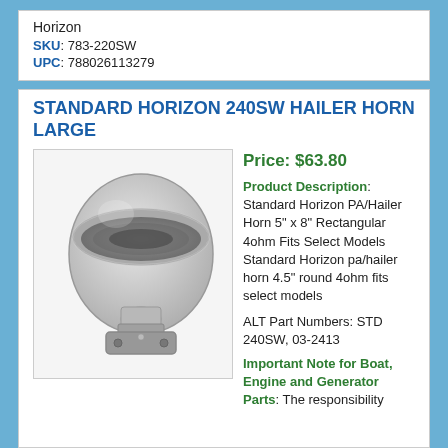Horizon
SKU: 783-220SW
UPC: 788026113279
STANDARD HORIZON 240SW HAILER HORN LARGE
[Figure (photo): Photo of a Standard Horizon PA/Hailer Horn speaker, light gray color, horn-shaped with mounting bracket.]
Price: $63.80
Product Description: Standard Horizon PA/Hailer Horn 5" x 8" Rectangular 4ohm Fits Select Models Standard Horizon pa/hailer horn 4.5" round 4ohm fits select models
ALT Part Numbers: STD 240SW, 03-2413
Important Note for Boat, Engine and Generator Parts: The responsibility